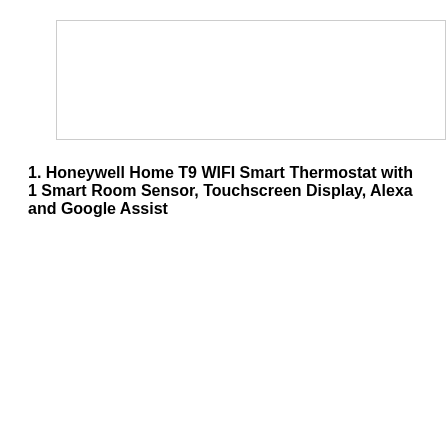[Figure (other): Empty white rectangular placeholder box with a thin gray border at the top of the page]
1. Honeywell Home T9 WIFI Smart Thermostat with 1 Smart Room Sensor, Touchscreen Display, Alexa and Google Assist
[Figure (photo): Product photo of a Honeywell Home T9 WIFI Smart Thermostat with touchscreen display showing time 6:30, temperature 65 in orange, and humidity 46, alongside a white smart room sensor device]